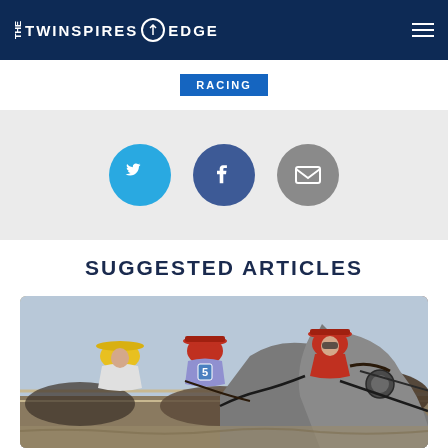THE TWINSPIRES EDGE
RACING
[Figure (infographic): Three social sharing buttons: Twitter (blue circle with bird icon), Facebook (dark blue circle with F icon), Email (gray circle with envelope icon)]
SUGGESTED ARTICLES
[Figure (photo): Horse racing photo showing jockeys including one with number 5 in a close race, horses necks visible in foreground]